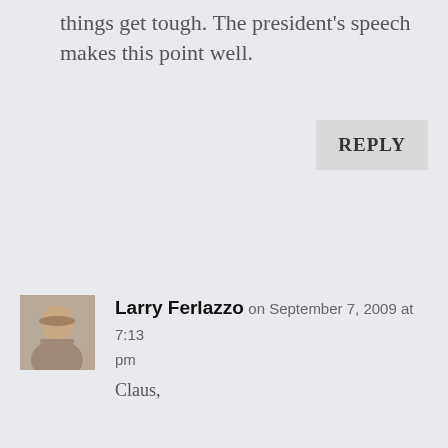things get tough. The president's speech makes this point well.
REPLY
Larry Ferlazzo on September 7, 2009 at 7:13 pm
Claus,
Thanks for the kind words.
You’re right on target about the dangers of pushing immediate gratification. Of course, in order to avoid that trap, teachers have to spend time developing relationships with their students to learn what